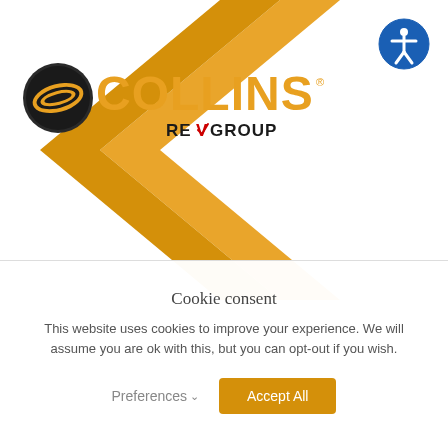[Figure (logo): Collins REV Group logo with orange chevron/arrow shape in background. Left: circular black and orange emblem. Center: 'COLLINS' in large orange text. Below: 'REV GROUP' in black with red checkmark in 'V'. Top right: blue circle accessibility icon.]
Cookie consent
This website uses cookies to improve your experience. We will assume you are ok with this, but you can opt-out if you wish.
Preferences  Accept All